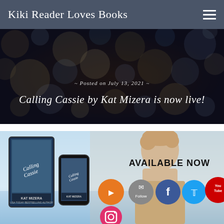Kiki Reader Loves Books
[Figure (photo): Bokeh bokeh background banner with text 'Posted on July 13, 2021' and 'Calling Cassie by Kat Mizera is now live!']
[Figure (photo): Book promotional image for 'Calling Cassie' by Kat Mizera showing book covers on tablet and phone with male model, text 'AVAILABLE NOW', and social media icons (RSS, email/Follow, Facebook, Twitter, YouTube, Instagram)]